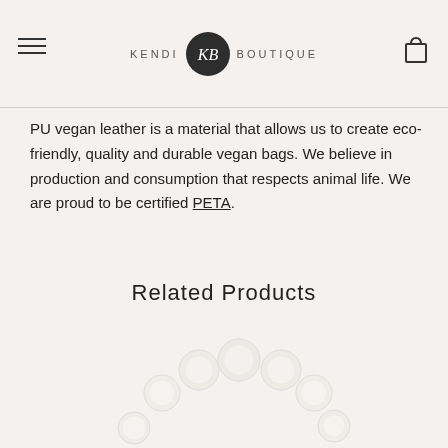KENDI KB BOUTIQUE
PU vegan leather is a material that allows us to create eco-friendly, quality and durable vegan bags. We believe in production and consumption that respects animal life. We are proud to be certified PETA.
Related Products
[Figure (photo): Pearl circular bag or bracelet accessory, white/cream pearls arranged in a ring shape, partially visible at bottom of page]